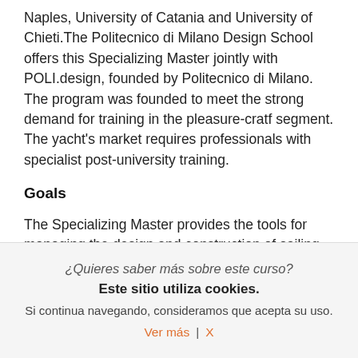Naples, University of Catania and University of Chieti.The Politecnico di Milano Design School offers this Specializing Master jointly with POLI.design, founded by Politecnico di Milano. The program was founded to meet the strong demand for training in the pleasure-cratf segment. The yacht's market requires professionals with specialist post-university training.
Goals
The Specializing Master provides the tools for managing the design and construction of sailing and motor boats, from project brief to definition of general plans, hydrostatic and hydrodynamic calculations, fitting-out of interiors, deck and board equipment, boat systems, production in the yard and control of executive stages. Participation in the Specializing Master allows students to achieve the following training
¿Quieres saber más sobre este curso?
Este sitio utiliza cookies.
Si continua navegando, consideramos que acepta su uso.
Ver más | X